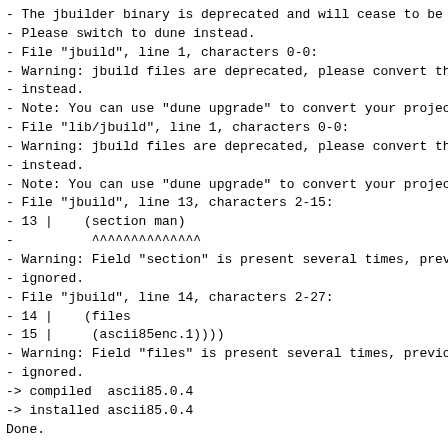- The jbuilder binary is deprecated and will cease to be
- Please switch to dune instead.
- File "jbuild", line 1, characters 0-0:
- Warning: jbuild files are deprecated, please convert th
- instead.
- Note: You can use "dune upgrade" to convert your proje
- File "lib/jbuild", line 1, characters 0-0:
- Warning: jbuild files are deprecated, please convert th
- instead.
- Note: You can use "dune upgrade" to convert your proje
- File "jbuild", line 13, characters 2-15:
- 13 |    (section man)
-          ^^^^^^^^^^^^^^
- Warning: Field "section" is present several times, pre
- ignored.
- File "jbuild", line 14, characters 2-27:
- 14 |    (files
- 15 |     (ascii85enc.1))))
- Warning: Field "files" is present several times, previo
- ignored.
-> compiled  ascii85.0.4
-> installed ascii85.0.4
Done.

<><> jbuilder.transition installed successfully <><><><
=> Jbuilder has been renamed and the jbuilder package is
# Run eval $(opam env) to update the current shell enviro
2022-06-21 01:24.36 ---> saved as "f8f9c173d4a89c8ddce9c8
Job succeeded